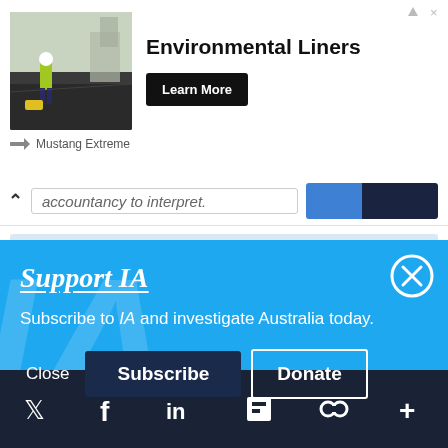[Figure (screenshot): Advertisement banner for Environmental Liners by Mustang Extreme, showing a worker in yellow jacket on dark liner material, with 'Environmental Liners' text and 'Learn More' button]
accountancy to interpret.
Support IA
Subscribe to IA and investigate Australia today.
Close  Subscribe  Donate
Twitter  Facebook  LinkedIn  Flipboard  Link  More